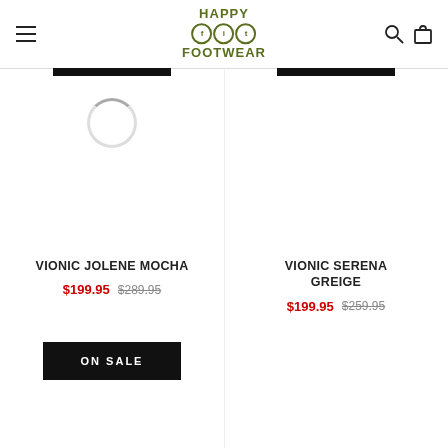[Figure (logo): Happy Fit Footwear logo with circular icons for f, i, t]
VIONIC JOLENE MOCHA
$199.95  $289.95
ON SALE
VIONIC SERENA GREIGE
$199.95  $259.95